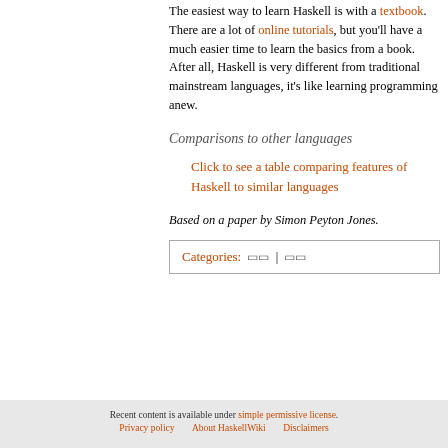The easiest way to learn Haskell is with a textbook. There are a lot of online tutorials, but you'll have a much easier time to learn the basics from a book. After all, Haskell is very different from traditional mainstream languages, it's like learning programming anew.
Comparisons to other languages
Click to see a table comparing features of Haskell to similar languages
Based on a paper by Simon Peyton Jones.
Categories: | |
Recent content is available under simple permissive license. Privacy policy About HaskellWiki Disclaimers